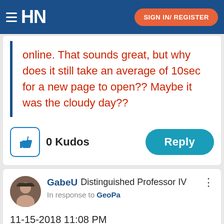HN | SIGN IN/ REGISTER
online.  That sounds great, but why does it still take an average of 10sec for a new page to open??  Maybe it was the cloudy day??
0 Kudos
Reply
GabeU Distinguished Professor IV
In response to GeoPa
11-15-2018 11:08 PM